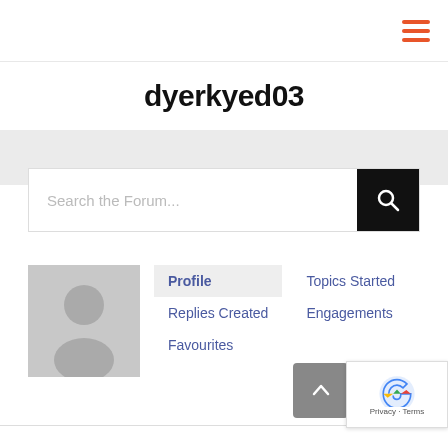≡ (hamburger menu icon)
dyerkyed03
Search the Forum...
[Figure (illustration): Default user avatar silhouette on gray background]
Profile
Topics Started
Replies Created
Engagements
Favourites